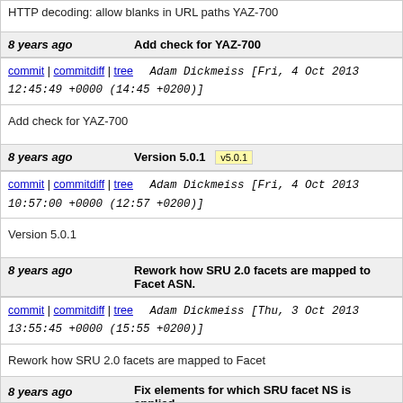HTTP decoding: allow blanks in URL paths YAZ-700
8 years ago   Add check for YAZ-700
commit | commitdiff | tree   Adam Dickmeiss [Fri, 4 Oct 2013 12:45:49 +0000 (14:45 +0200)]
Add check for YAZ-700
8 years ago   Version 5.0.1  v5.0.1
commit | commitdiff | tree   Adam Dickmeiss [Fri, 4 Oct 2013 10:57:00 +0000 (12:57 +0200)]
Version 5.0.1
8 years ago   Rework how SRU 2.0 facets are mapped to Facet ASN.
commit | commitdiff | tree   Adam Dickmeiss [Thu, 3 Oct 2013 13:55:45 +0000 (15:55 +0200)]
Rework how SRU 2.0 facets are mapped to Facet
8 years ago   Fix elements for which SRU facet NS is applied